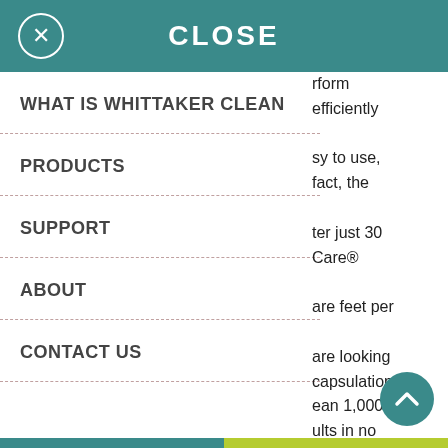CLOSE
WHAT IS WHITTAKER CLEAN
PRODUCTS
SUPPORT
ABOUT
CONTACT US
rform efficiently sy to use, fact, the ter just 30 Care® are feet per are looking capsulation ean 1,000 ults in no sulation approac. pet. In fact,